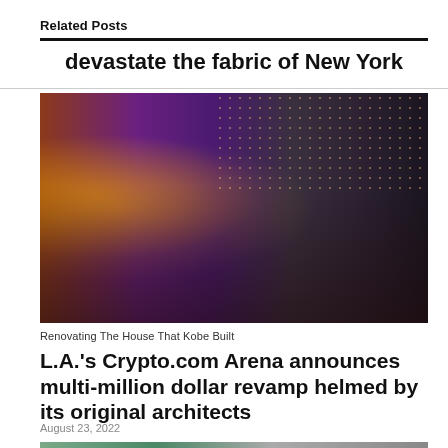Related Posts
devastate the fabric of New York
[Figure (photo): Interior event photo showing a crowd of people gathered in a large venue with purple/amber lighting and a decorative ceiling with dot lights]
Renovating The House That Kobe Built
L.A.'s Crypto.com Arena announces multi-million dollar revamp helmed by its original architects
August 23, 2022
[Figure (photo): Partial view of a glass and steel building exterior]